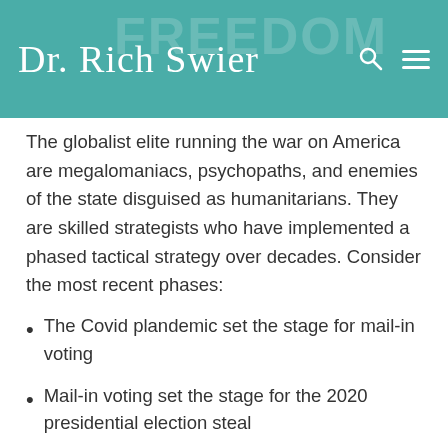Dr. Rich Swier
The globalist elite running the war on America are megalomaniacs, psychopaths, and enemies of the state disguised as humanitarians. They are skilled strategists who have implemented a phased tactical strategy over decades. Consider the most recent phases:
The Covid plandemic set the stage for mail-in voting
Mail-in voting set the stage for the 2020 presidential election steal
The election steal set the stage for the